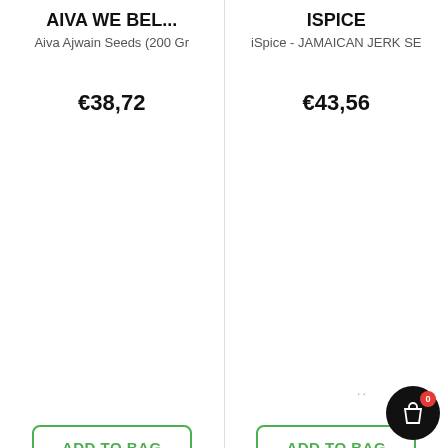AIVA WE BEL...
Aiva Ajwain Seeds (200 Gr
€38,72
ADD TO BAG
ISPICE
iSpice - JAMAICAN JERK SE
€43,56
ADD TO BAG
[Figure (photo): New product badge with dark product image (black cylinder)]
[Figure (photo): New product badge with orange product packaging image]
This website uses cookies to ensure you get the best experience.  Learn More
Got it!